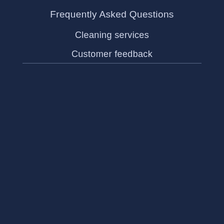Frequently Asked Questions
Cleaning services
Customer feedback